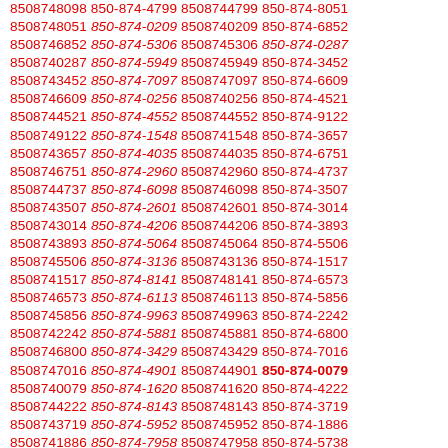8508748098 850-874-4799 8508744799 850-874-8051 8508748051 850-874-0209 8508740209 850-874-6852 8508746852 850-874-5306 8508745306 850-874-0287 8508740287 850-874-5949 8508745949 850-874-3452 8508743452 850-874-7097 8508747097 850-874-6609 8508746609 850-874-0256 8508740256 850-874-4521 8508744521 850-874-4552 8508744552 850-874-9122 8508749122 850-874-1548 8508741548 850-874-3657 8508743657 850-874-4035 8508744035 850-874-6751 8508746751 850-874-2960 8508742960 850-874-4737 8508744737 850-874-6098 8508746098 850-874-3507 8508743507 850-874-2601 8508742601 850-874-3014 8508743014 850-874-4206 8508744206 850-874-3893 8508743893 850-874-5064 8508745064 850-874-5506 8508745506 850-874-3136 8508743136 850-874-1517 8508741517 850-874-8141 8508748141 850-874-6573 8508746573 850-874-6113 8508746113 850-874-5856 8508745856 850-874-9963 8508749963 850-874-2242 8508742242 850-874-5881 8508745881 850-874-6800 8508746800 850-874-3429 8508743429 850-874-7016 8508747016 850-874-4901 8508744901 850-874-0079 8508740079 850-874-1620 8508741620 850-874-4222 8508744222 850-874-8143 8508748143 850-874-3719 8508743719 850-874-5952 8508745952 850-874-1886 8508741886 850-874-7958 8508747958 850-874-5738